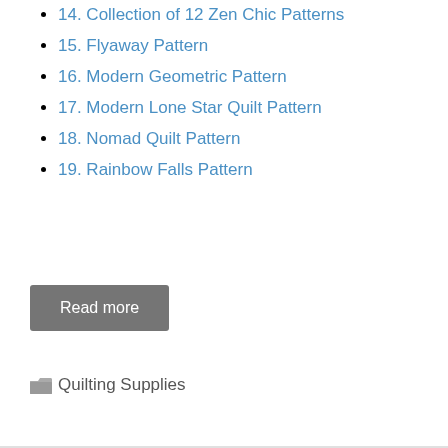14. Collection of 12 Zen Chic Patterns
15. Flyaway Pattern
16. Modern Geometric Pattern
17. Modern Lone Star Quilt Pattern
18. Nomad Quilt Pattern
19. Rainbow Falls Pattern
Read more
Quilting Supplies